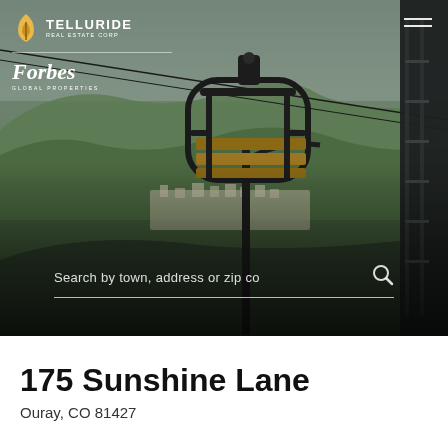[Figure (photo): Telluride ski lift gondola chair in foreground with mountain valley town of Telluride visible in background, surrounded by green forested mountains. Dark overlay at bottom. Telluride Real Estate Corp logo and Forbes Global Properties logo in top-left. Hamburger menu icon top-right. Search bar overlay at bottom of image.]
175 Sunshine Lane
Ouray, CO 81427